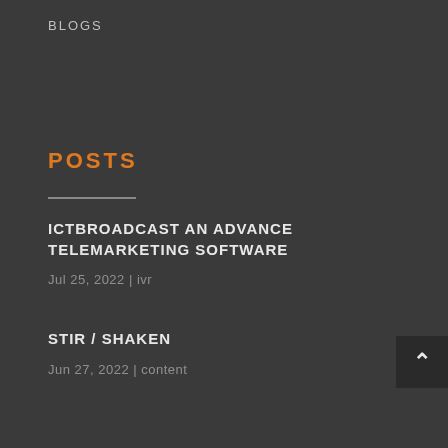BLOGS
POSTS
ICTBROADCAST AN ADVANCE TELEMARKETING SOFTWARE
Jul 25, 2022 | ivr
STIR / SHAKEN
Jun 27, 2022 | content